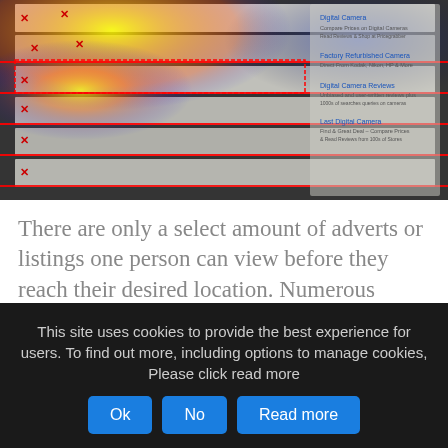[Figure (screenshot): Heatmap overlay on a search engine results page (SERP) showing eye-tracking data with warm colors (yellow/red) in the top-left area indicating high attention, cooler colors elsewhere, with red horizontal lines marking ad positions and small X markers scattered across results.]
There are only a select amount of adverts or listings one person can view before they reach their desired location. Numerous studies have revealed that there is a “Golden Triangle” of Search Engine Ranking Positions (SERPs). The golden
This site uses cookies to provide the best experience for users. To find out more, including options to manage cookies, Please click read more